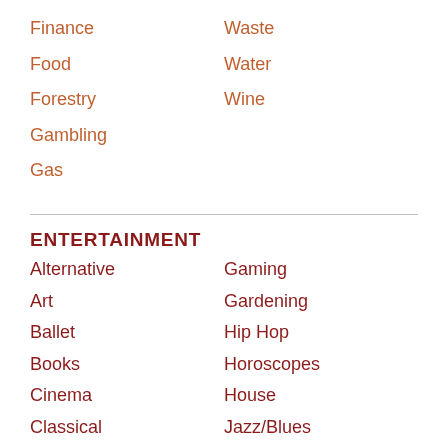Finance
Waste
Food
Water
Forestry
Wine
Gambling
Gas
ENTERTAINMENT
Alternative
Gaming
Art
Gardening
Ballet
Hip Hop
Books
Horoscopes
Cinema
House
Classical
Jazz/Blues
Comedy
Music